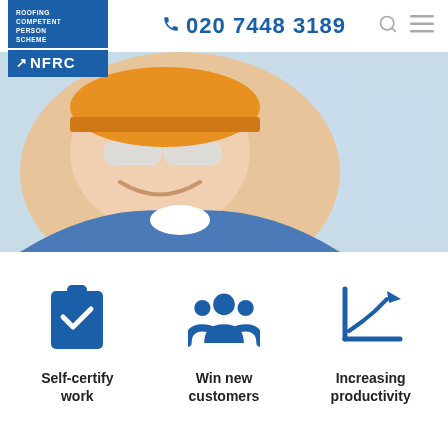020 7448 3189
[Figure (logo): NFRC Roofing Competent Person Scheme logo — blue square with white text]
[Figure (photo): Smiling male construction worker wearing orange hard hat and safety glasses, outdoor blurred background]
[Figure (infographic): Three blue icons: clipboard with checkmark, group of people, bar chart with upward arrow]
Self-certify work
Win new customers
Increasing productivity